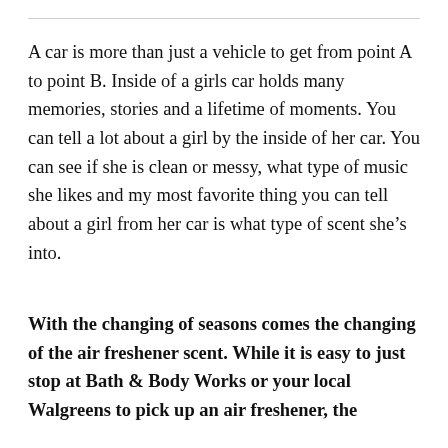A car is more than just a vehicle to get from point A to point B. Inside of a girls car holds many memories, stories and a lifetime of moments. You can tell a lot about a girl by the inside of her car. You can see if she is clean or messy, what type of music she likes and my most favorite thing you can tell about a girl from her car is what type of scent she’s into.
With the changing of seasons comes the changing of the air freshener scent. While it is easy to just stop at Bath & Body Works or your local Walgreens to pick up an air freshener, the